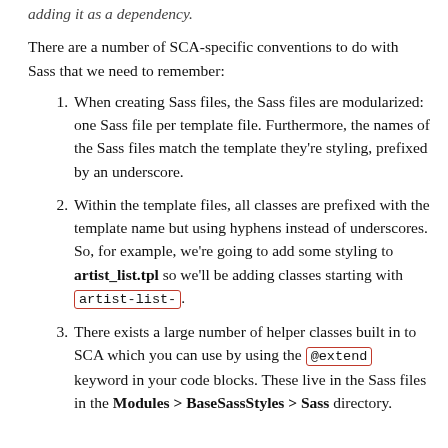adding it as a dependency.
There are a number of SCA-specific conventions to do with Sass that we need to remember:
When creating Sass files, the Sass files are modularized: one Sass file per template file. Furthermore, the names of the Sass files match the template they're styling, prefixed by an underscore.
Within the template files, all classes are prefixed with the template name but using hyphens instead of underscores. So, for example, we're going to add some styling to artist_list.tpl so we'll be adding classes starting with artist-list-.
There exists a large number of helper classes built in to SCA which you can use by using the @extend keyword in your code blocks. These live in the Sass files in the Modules > BaseSassStyles > Sass directory.